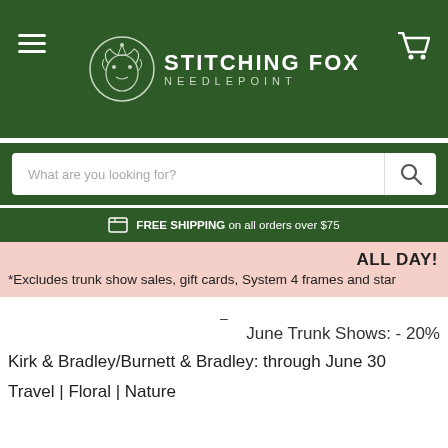[Figure (logo): Stitching Fox Needlepoint logo with fox illustration and brand name]
What are you looking for?
FREE SHIPPING on all orders over $75
ALL DAY!
*Excludes trunk show sales, gift cards, System 4 frames and star
–
June Trunk Shows: - 20%
Kirk & Bradley/Burnett & Bradley: through June 30
Travel | Floral | Nature